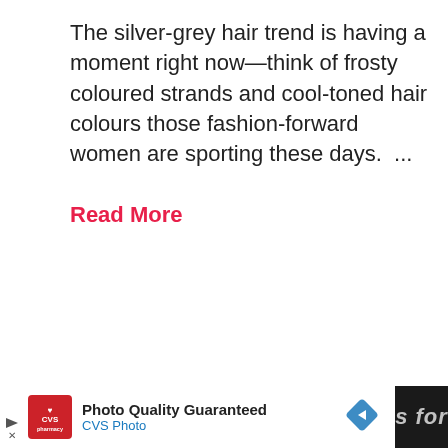The silver-grey hair trend is having a moment right now—think of frosty coloured strands and cool-toned hair colours those fashion-forward women are sporting these days.  ...
Read More
[Figure (photo): A circular cropped photo showing the back and profile of a woman with a short blonde/brunette bob haircut, wearing a black top against a light background.]
[Figure (other): A circular share/social button icon with a share symbol and plus sign, on white background with drop shadow.]
Photo Quality Guaranteed
CVS Photo